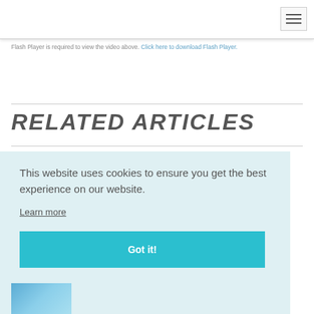Flash Player is required to view the video above. Click here to download Flash Player.
RELATED ARTICLES
This website uses cookies to ensure you get the best experience on our website. Learn more Got it!